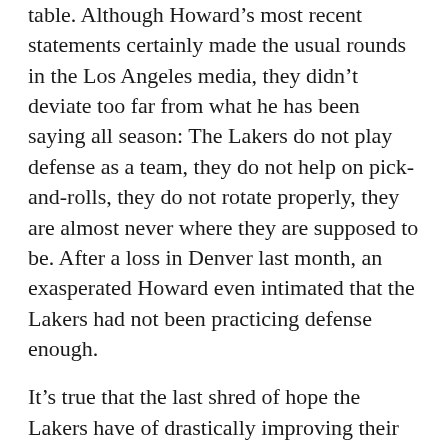table. Although Howard's most recent statements certainly made the usual rounds in the Los Angeles media, they didn't deviate too far from what he has been saying all season: The Lakers do not play defense as a team, they do not help on pick-and-rolls, they do not rotate properly, they are almost never where they are supposed to be. After a loss in Denver last month, an exasperated Howard even intimated that the Lakers had not been practicing defense enough.
It's true that the last shred of hope the Lakers have of drastically improving their performance in the second half of the season comes from the off chance that Dwight's back will improve enough to make him the defensive force he's been over the past half-decade. Howard has certainly lost some of his explosiveness, but his tentativeness on the defensive end also comes from the fact that he can't rely on his teammates to rotate over when he goes up to contest shots at the basket. Howard could be a victim of the